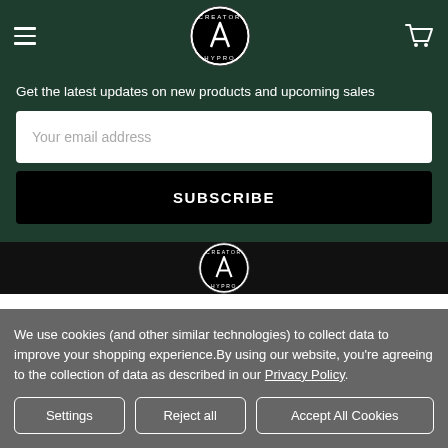[Figure (logo): Creator Hypro circular logo with letter A inside, white on black, in dark green header navigation bar with hamburger menu and cart icon]
Get the latest updates on new products and upcoming sales
Your email address
SUBSCRIBE
[Figure (logo): Creator Hypro circular logo partially visible in dark/black footer section]
We use cookies (and other similar technologies) to collect data to improve your shopping experience.By using our website, you're agreeing to the collection of data as described in our Privacy Policy.
Settings
Reject all
Accept All Cookies